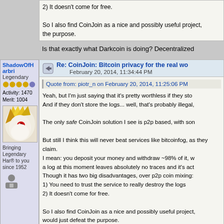2) It doesn't come for free.

So I also find CoinJoin as a nice and possibly useful project, the purpose.
Is that exactly what Darkcoin is doing? Decentralized
ShadowOfHarbri
Re: CoinJoin: Bitcoin privacy for the real wo
February 20, 2014, 11:34:44 PM
Quote from: piotr_n on February 20, 2014, 11:25:06 PM
Yeah, but I'm just saying that it's pretty worthless if they sto
And if they don't store the logs... well, that's probably illegal,

The only safe CoinJoin solution I see is p2p based, with son

But still I think this will never beat services like bitcoinfog, as they claim.
I mean: you deposit your money and withdraw ~98% of it, w a log at this moment leaves absolutely no traces and it's act.
Though it has two big disadvantages, over p2p coin mixing:
1) You need to trust the service to really destroy the logs
2) It doesn't come for free.

So I also find CoinJoin as a nice and possibly useful project, would just defeat the purpose.
Not to mention that it would be dangerous for whoever runs
Legendary
Activity: 1470
Merit: 1004
[Figure (photo): Avatar image showing a stylized figure with yellow and white colors and a red eye]
Bringing Legendary Har® to you since 1952